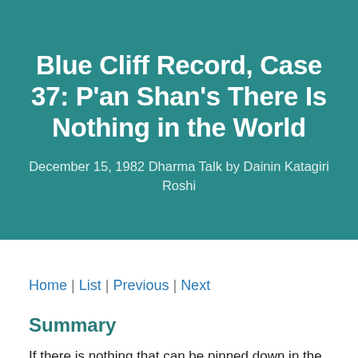Blue Cliff Record, Case 37: P'an Shan's There Is Nothing in the World
December 15, 1982 Dharma Talk by Dainin Katagiri Roshi
Home | List | Previous | Next
Summary
If there is nothing that can be pinned down in the vast expanse of the universe, then where is the origin?